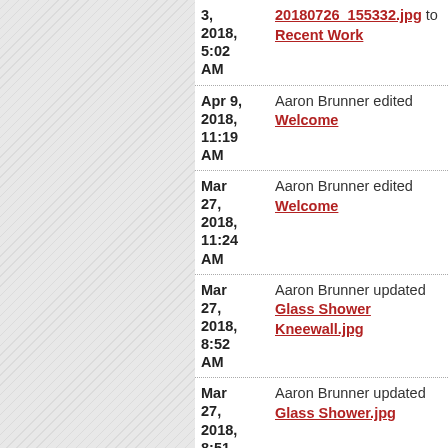Jul 3, 2018, 5:02 AM — Aaron Brunner uploaded 20180726_155332.jpg to Recent Work
Apr 9, 2018, 11:19 AM — Aaron Brunner edited Welcome
Mar 27, 2018, 11:24 AM — Aaron Brunner edited Welcome
Mar 27, 2018, 8:52 AM — Aaron Brunner updated Glass Shower Kneewall.jpg
Mar 27, 2018, 8:51 AM — Aaron Brunner updated Glass Shower.jpg
Mar ... — Aaron Brunner updated Glass ...